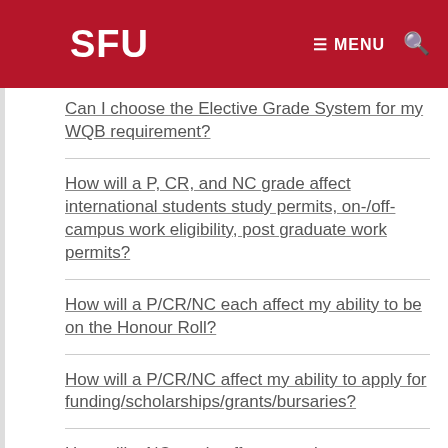SFU MENU
Can I choose the Elective Grade System for my WQB requirement?
How will a P, CR, and NC grade affect international students study permits, on-/off-campus work eligibility, post graduate work permits?
How will a P/CR/NC each affect my ability to be on the Honour Roll?
How will a P/CR/NC affect my ability to apply for funding/scholarships/grants/bursaries?
How will a NC grade affect reporting on successful completion for government student loans and grants?